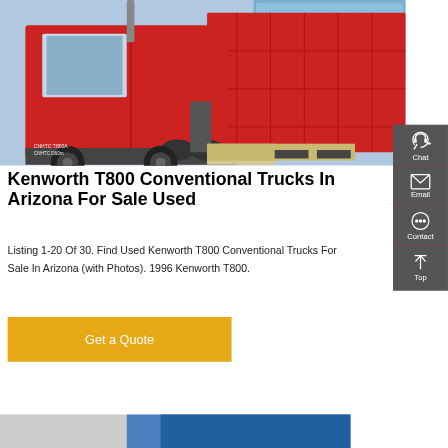[Figure (photo): Red Kenworth dump truck photographed from the side, showing cab and red cargo bed with geometric panel patterns. Blue building visible in background.]
Kenworth T800 Conventional Trucks In Arizona For Sale Used
Listing 1-20 Of 30. Find Used Kenworth T800 Conventional Trucks For Sale In Arizona (with Photos). 1996 Kenworth T800.
[Figure (other): Sidebar with dark gray background containing Chat, Email, Contact, and Top navigation icons]
Get a Quote
[Figure (photo): Partial bottom strip showing another truck image in blue tones]